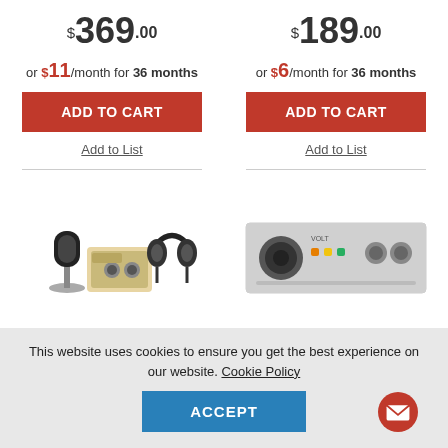$369.00
or $11/month for 36 months
ADD TO CART
Add to List
$189.00
or $6/month for 36 months
ADD TO CART
Add to List
[Figure (photo): Audio interface bundle with microphone and headphones]
[Figure (photo): Universal Audio Volt audio interface]
This website uses cookies to ensure you get the best experience on our website. Cookie Policy
ACCEPT